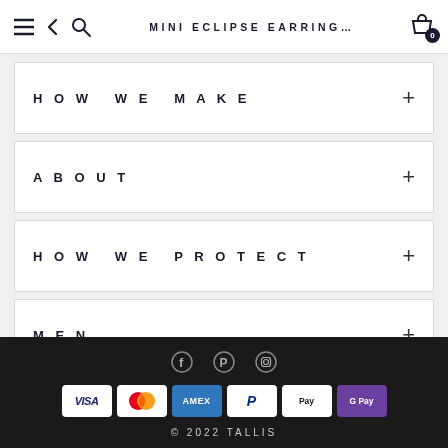MINI ECLIPSE EARRING…
HOW WE MAKE
ABOUT
HOW WE PROTECT
MEN
© 2022 TALLIS